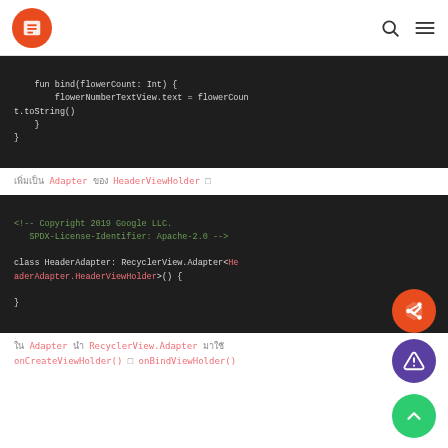[Figure (screenshot): Code block showing Kotlin: fun bind(flowerCount: Int) { flowerNumberTextView.text = flowerCount.toString() }]
เพิ่มเป็น Adapter ของ HeaderViewHolder
[Figure (screenshot): Code block showing XML/Kotlin: <!-- Copyright 2019 Google LLC. SPDX-License-Identifier: Apache-2.0 --> class HeaderAdapter: RecyclerView.Adapter<HeaderAdapter.HeaderViewHolder>() { }]
ใน Adapter นำ RecyclerView.Adapter มาใช้ onCreateViewHolder() และ onBindViewHolder()